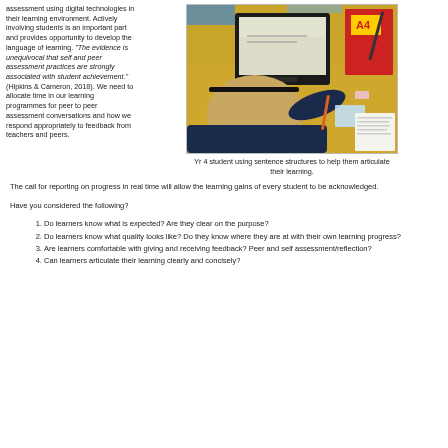assessment using digital technologies in their learning environment. Actively involving students is an important part and provides opportunity to develop the language of learning. "The evidence is unequivocal that self and peer assessment practices are strongly associated with student achievement." (Hipkins & Cameron, 2018). We need to allocate time in our learning programmes for peer to peer assessment conversations and how we respond appropriately to feedback from teachers and peers.
[Figure (photo): Yr 4 student using a laptop on a yellow desk, with books and stationery, viewed from above]
Yr 4 student using sentence structures to help them articulate their learning.
The call for reporting on progress in real time will allow the learning gains of every student to be acknowledged.
Have you considered the following?
Do learners know what is expected? Are they clear on the purpose?
Do learners know what quality looks like? Do they know where they are at with their own learning progress?
Are learners comfortable with giving and receiving feedback? Peer and self assessment/reflection?
Can learners articulate their learning clearly and concisely?